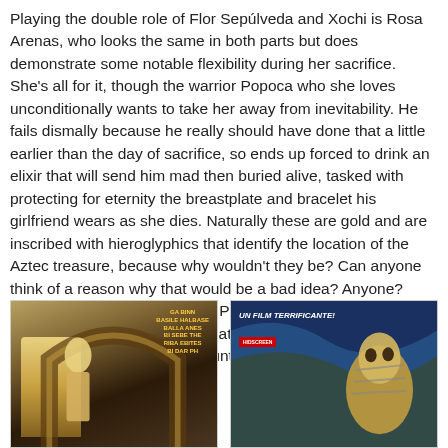Playing the double role of Flor Sepúlveda and Xochi is Rosa Arenas, who looks the same in both parts but does demonstrate some notable flexibility during her sacrifice. She's all for it, though the warrior Popoca who she loves unconditionally wants to take her away from inevitability. He fails dismally because he really should have done that a little earlier than the day of sacrifice, so ends up forced to drink an elixir that will send him mad then buried alive, tasked with protecting for eternity the breastplate and bracelet his girlfriend wears as she dies. Naturally these are gold and are inscribed with hieroglyphics that identify the location of the Aztec treasure, because why wouldn't they be? Can anyone think of a reason why that would be a bad idea? Anyone? Anyway Xochi gets sacrificed, Popoca gets walled up and poor Flor has to endure the death of her former self, left floating, a soul out of a body, until her fiancé calls her back.
[Figure (photo): Left movie poster showing a figure in an archway with colorful text overlay]
[Figure (photo): Right movie poster with text 'UN FILM TERRIFICANTE!' and a dramatic creature/mummy figure]